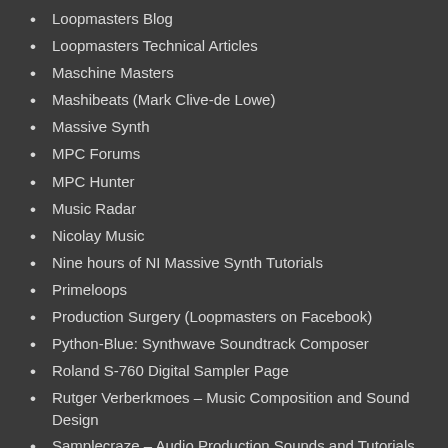Loopmasters Blog
Loopmasters Technical Articles
Maschine Masters
Mashibeats (Mark Clive-de Lowe)
Massive Synth
MPC Forums
MPC Hunter
Music Radar
Nicolay Music
Nine hours of NI Massive Synth Tutorials
Primeloops
Production Surgery (Loopmasters on Facebook)
Python-Blue: Synthwave Soundtrack Composer
Roland S-760 Digital Sampler Page
Rutger Verberkmoes – Music Composition and Sound Design
Samplecraze – Audio Production Sounds and Tutorials
Sâ€'50 / Sâ€'550 / Sâ€'330 / Wâ€'30 Sampler Owners Support Page
SignaltoNoise
Silicon Beats
Synthgear – Synthesizers, electronic music and gear reviews